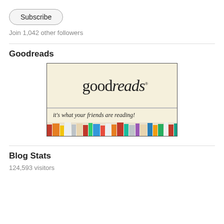Subscribe
Join 1,042 other followers
Goodreads
[Figure (logo): Goodreads banner with logo text 'goodreads®', tagline 'it's what your friends are reading!', and colorful book spines across the bottom.]
Blog Stats
124,593 visitors